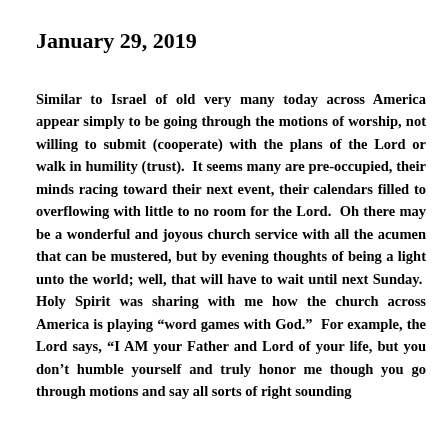January 29, 2019
Similar to Israel of old very many today across America appear simply to be going through the motions of worship, not willing to submit (cooperate) with the plans of the Lord or walk in humility (trust).  It seems many are pre-occupied, their minds racing toward their next event, their calendars filled to overflowing with little to no room for the Lord.  Oh there may be a wonderful and joyous church service with all the acumen that can be mustered, but by evening thoughts of being a light unto the world; well, that will have to wait until next Sunday.  Holy Spirit was sharing with me how the church across America is playing “word games with God.”  For example, the Lord says, “I AM your Father and Lord of your life, but you don’t humble yourself and truly honor me though you go through motions and say all sorts of right sounding